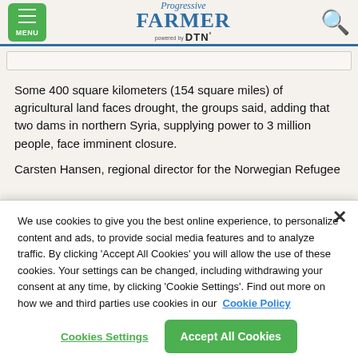Progressive Farmer powered by DTN
Some 400 square kilometers (154 square miles) of agricultural land faces drought, the groups said, adding that two dams in northern Syria, supplying power to 3 million people, face imminent closure.
Carsten Hansen, regional director for the Norwegian Refugee
We use cookies to give you the best online experience, to personalize content and ads, to provide social media features and to analyze traffic. By clicking 'Accept All Cookies' you will allow the use of these cookies. Your settings can be changed, including withdrawing your consent at any time, by clicking 'Cookie Settings'. Find out more on how we and third parties use cookies in our Cookie Policy
Cookies Settings
Accept All Cookies